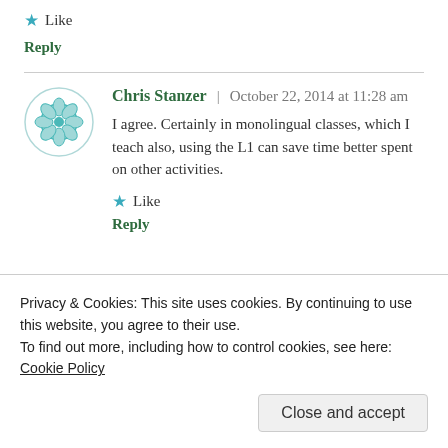★ Like
Reply
Chris Stanzer | October 22, 2014 at 11:28 am
I agree. Certainly in monolingual classes, which I teach also, using the L1 can save time better spent on other activities.
★ Like
Reply
Privacy & Cookies: This site uses cookies. By continuing to use this website, you agree to their use.
To find out more, including how to control cookies, see here: Cookie Policy
Close and accept